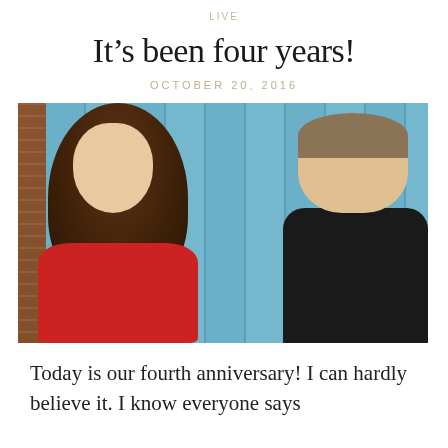LIVE
It’s been four years!
OCTOBER 20, 2016
[Figure (photo): A couple smiling at each other in front of blue wooden planks with a brick wall visible on the left. The woman has long brown curly hair and wears a red shirt; the man has short hair and wears a black shirt.]
Today is our fourth anniversary! I can hardly believe it. I know everyone says